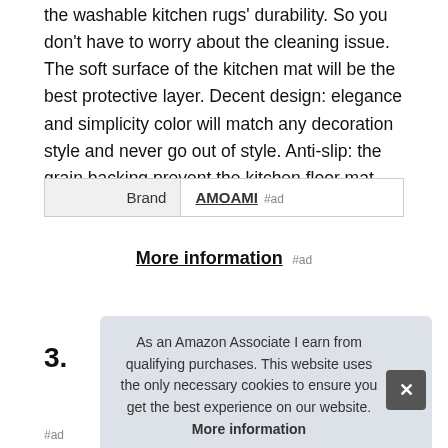the washable kitchen rugs' durability. So you don't have to worry about the cleaning issue. The soft surface of the kitchen mat will be the best protective layer. Decent design: elegance and simplicity color will match any decoration style and never go out of style. Anti-slip: the grain backing prevent the kitchen floor mat from slipping or shifting.
| Brand |  |
| --- | --- |
| Brand | AMOAMI #ad |
More information #ad
3.
As an Amazon Associate I earn from qualifying purchases. This website uses the only necessary cookies to ensure you get the best experience on our website. More information
#ad